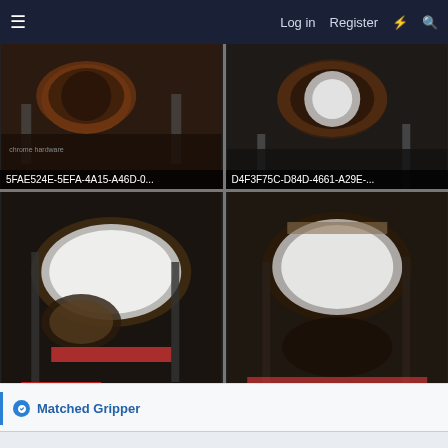≡  Log in  Register  ⚡  🔍
[Figure (photo): Drum kit photo thumbnail labeled 5FAE524E-5EFA-4A15-A46D-0...]
[Figure (photo): Drum kit photo thumbnail labeled D4F3F75C-D84D-4661-A29E-...]
[Figure (photo): Drum kit photo thumbnail labeled 6B291A7C-5ED8-47DD-99AF-...]
[Figure (photo): Drum kit photo thumbnail labeled E7A97A59-3338-463F-AAF0-1...]
Matched Gripper